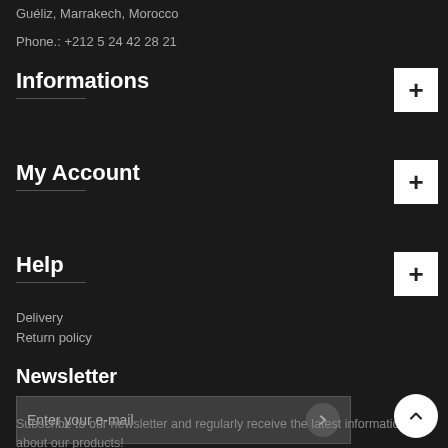Guéliz, Marrakech, Morocco
Phone.: +212 5 24 42 28 21
Informations
My Account
Help
Delivery
Return policy
Newsletter
Enter your e-mail
Subscribe to our newsletter and regularly receive the latest information about our products!